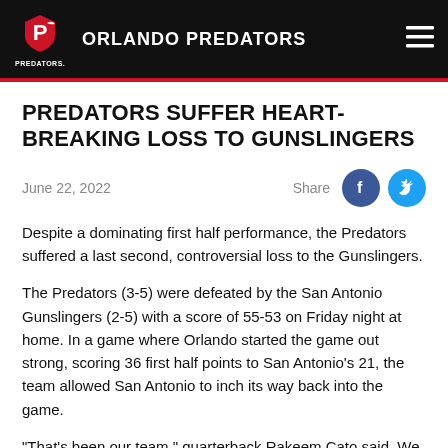ORLANDO PREDATORS
PREDATORS SUFFER HEART-BREAKING LOSS TO GUNSLINGERS
June 22, 2022
Despite a dominating first half performance, the Predators suffered a last second, controversial loss to the Gunslingers.
The Predators (3-5) were defeated by the San Antonio Gunslingers (2-5) with a score of 55-53 on Friday night at home. In a game where Orlando started the game out strong, scoring 36 first half points to San Antonio's 21, the team allowed San Antonio to inch its way back into the game.
“That’s been our team,” quarterback Rakeem Cato said. We just need to come together and play four quarters of Predator’s football. Sometimes we start out slow and have a